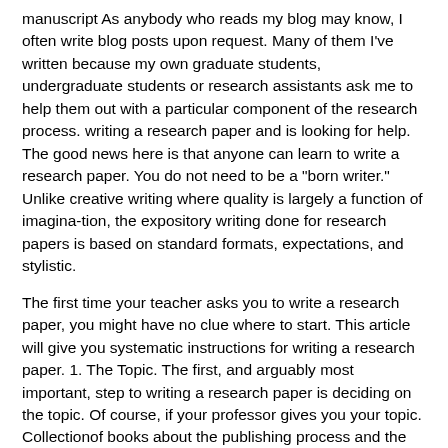manuscript As anybody who reads my blog may know, I often write blog posts upon request. Many of them I've written because my own graduate students, undergraduate students or research assistants ask me to help them out with a particular component of the research process. writing a research paper and is looking for help. The good news here is that anyone can learn to write a research paper. You do not need to be a "born writer." Unlike creative writing where quality is largely a function of imagina-tion, the expository writing done for research papers is based on standard formats, expectations, and stylistic.
The first time your teacher asks you to write a research paper, you might have no clue where to start. This article will give you systematic instructions for writing a research paper. 1. The Topic. The first, and arguably most important, step to writing a research paper is deciding on the topic. Of course, if your professor gives you your topic. Collectionof books about the publishing process and the journals' world to improve the chances to get your research published in journals Score A book's total score is based on multiple factors, including the number of people who have voted for it and how highly those voters ranked the book.
Research Paper Writing Guide There is a big chance you've read lots of blog posts, less or more academic regarding how to write a research paper almost in a matter of hours. If you are willing to read one more article like that, you can skip this entry, because we are not going to lie to you. Chapter 10 Writing the Research Paper Interest Your Reader The immediate context in which you are writing the paper provides one set of clues. If you are writing the research paper as part of an academic course, the issues raised in class and the particulars